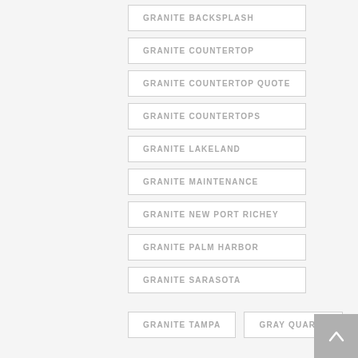GRANITE BACKSPLASH
GRANITE COUNTERTOP
GRANITE COUNTERTOP QUOTE
GRANITE COUNTERTOPS
GRANITE LAKELAND
GRANITE MAINTENANCE
GRANITE NEW PORT RICHEY
GRANITE PALM HARBOR
GRANITE SARASOTA
GRANITE TAMPA
GRAY QUARTZ